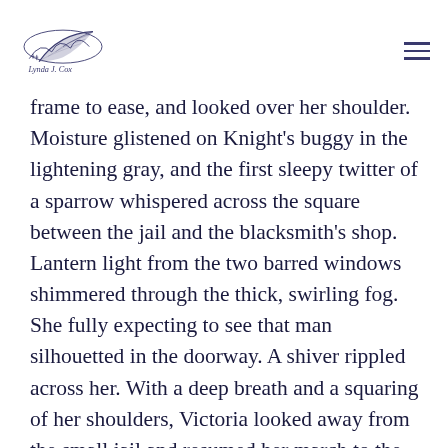Lynda J. Cox
frame to ease, and looked over her shoulder. Moisture glistened on Knight’s buggy in the lightening gray, and the first sleepy twitter of a sparrow whispered across the square between the jail and the blacksmith’s shop. Lantern light from the two barred windows shimmered through the thick, swirling fog. She fully expecting to see that man silhouetted in the doorway. A shiver rippled across her. With a deep breath and a squaring of her shoulders, Victoria looked away from the small jail and resumed her march to the blacksmith shop. She spent too much time learning how to be strong, how to be tough as nails, and she was the sheriff. No one was taking her badge from her; not without a fight. Not even her long-lost husband.